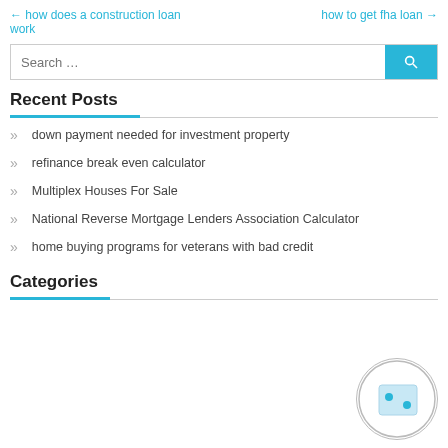← how does a construction loan work    how to get fha loan →
Search …
Recent Posts
down payment needed for investment property
refinance break even calculator
Multiplex Houses For Sale
National Reverse Mortgage Lenders Association Calculator
home buying programs for veterans with bad credit
Categories
[Figure (illustration): A circular button/badge with a light blue square containing two dice dots inside, with a grey circle border.]